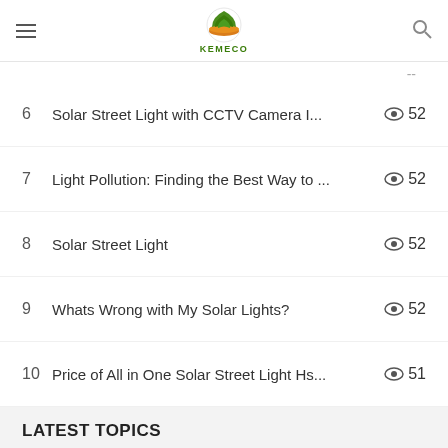KEMECO
6  Solar Street Light with CCTV Camera I...  52
7  Light Pollution: Finding the Best Way to ...  52
8  Solar Street Light  52
9  Whats Wrong with My Solar Lights?  52
10  Price of All in One Solar Street Light Hs...  51
LATEST TOPICS
1  How Many Presents Do You Try to Get ...  29
2  Iphone, Blackberry Storm 2, Or Palm Pr...